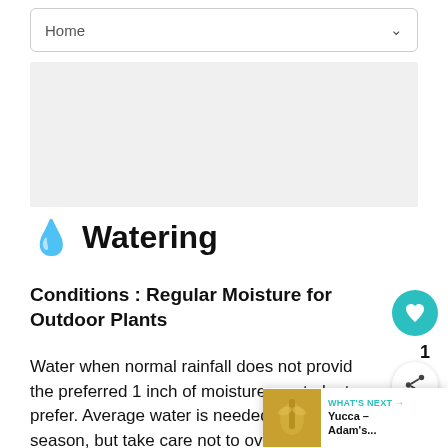Home
[Figure (other): Gray banner/advertisement area]
💧 Watering
Conditions : Regular Moisture for Outdoor Plants
Water when normal rainfall does not provide the preferred 1 inch of moisture most plants prefer. Average water is needed during growing season, but take care not to overwater. The first two years after a plant is
[Figure (photo): Yucca – Adam's thumbnail image for What's Next panel]